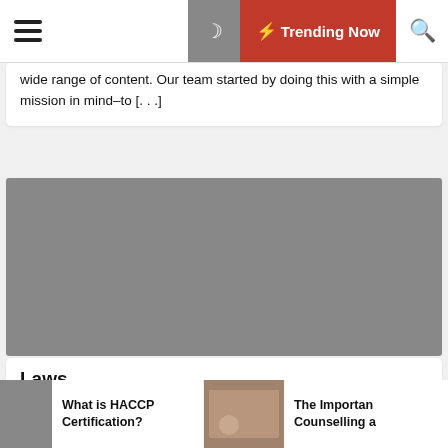Trending Now
wide range of content. Our team started by doing this with a simple mission in mind–to [...]
[Figure (photo): Gray placeholder image block]
Laws
Willy Urias  1 year ago
This web site also can allow you to with lawyer referral companies, and other free and low-cost providers in your
What is HACCP Certification?
The Importan Counselling a